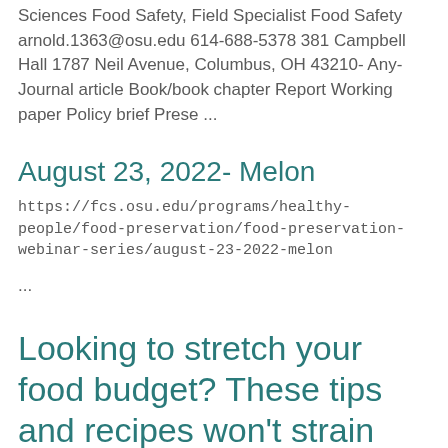Sciences Food Safety, Field Specialist Food Safety arnold.1363@osu.edu 614-688-5378 381 Campbell Hall 1787 Neil Avenue, Columbus, OH 43210- Any- Journal article Book/book chapter Report Working paper Policy brief Prese ...
August 23, 2022- Melon
https://fcs.osu.edu/programs/healthy-people/food-preservation/food-preservation-webinar-series/august-23-2022-melon
...
Looking to stretch your food budget? These tips and recipes won't strain your wallet